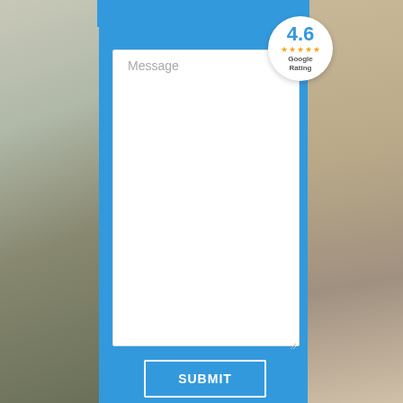[Figure (screenshot): Web contact form screenshot showing a message textarea with placeholder text 'Message', a SUBMIT button, overlaid on a background photo. A Google Rating badge showing 4.6 with stars is visible in the upper right corner.]
Message
SUBMIT
4.6
Google Rating